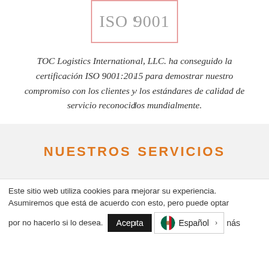[Figure (logo): ISO 9001 certification logo box with pink/rose border]
TOC Logistics International, LLC. ha conseguido la certificación ISO 9001:2015 para demostrar nuestro compromiso con los clientes y los estándares de calidad de servicio reconocidos mundialmente.
NUESTROS SERVICIOS
Este sitio web utiliza cookies para mejorar su experiencia. Asumiremos que está de acuerdo con esto, pero puede optar por no hacerlo si lo desea.
Aceptar   Español  >   más